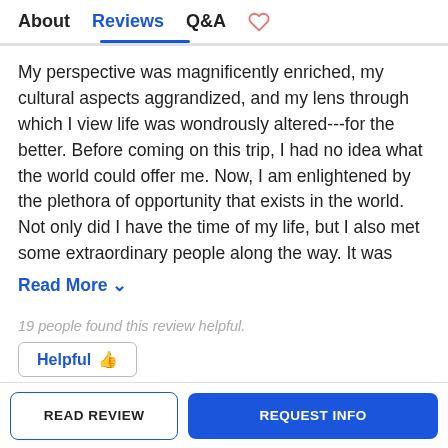About  Reviews  Q&A
My perspective was magnificently enriched, my cultural aspects aggrandized, and my lens through which I view life was wondrously altered---for the better. Before coming on this trip, I had no idea what the world could offer me. Now, I am enlightened by the plethora of opportunity that exists in the world. Not only did I have the time of my life, but I also met some extraordinary people along the way. It was
Read More ∨
19 people found this review helpful.
Helpful 👍
READ REVIEW
REQUEST INFO